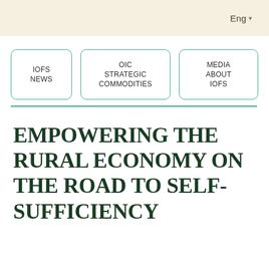Eng
IOFS NEWS
OIC STRATEGIC COMMODITIES
MEDIA ABOUT IOFS
EMPOWERING THE RURAL ECONOMY ON THE ROAD TO SELF-SUFFICIENCY